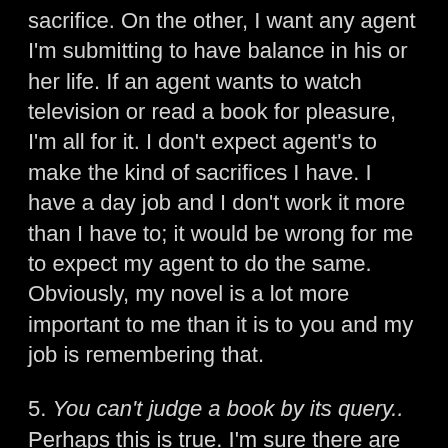sacrifice. On the other, I want any agent I'm submitting to have balance in his or her life. If an agent wants to watch television or read a book for pleasure, I'm all for it. I don't expect agent's to make the kind of sacrifices I have. I have a day job and I don't work it more than I have to; it would be wrong for me to expect my agent to do the same. Obviously, my novel is a lot more important to me than it is to you and my job is remembering that.
5. You can't judge a book by its query.. Perhaps this is true. I'm sure there are wonderful books out there that never saw publication because they query wasn't strong enough. However, until someone comes up with a better way of selecting books, we're stuck with the query letter. I find it odd how often the same person will complain about how long it takes to hear back from an agent while also complaining about how